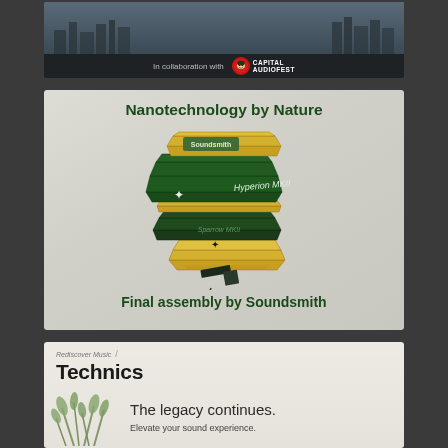[Figure (illustration): Top banner advertisement showing a city skyline background with text 'In collaboration with' and a Capital Audiofest logo featuring a circular red icon with a face graphic]
[Figure (photo): Soundsmith advertisement with white/light gray background. Title 'Nanotechnology by Nature' in bold dark green. Center shows a product photo of stacked green and gold phono cartridges labeled 'Soundsmith' and 'Hyperion MK II'. Bottom text reads 'Final assembly by Soundsmith' in bold dark green.]
[Figure (illustration): Technics advertisement with light beige/cream background. Small italic text 'Rediscover Music' with a slash. Large bold 'Technics' brand name. Body shows a plant/grass illustration on the left. Main text reads 'The legacy continues.' and smaller text 'Elevate your sound experience.']